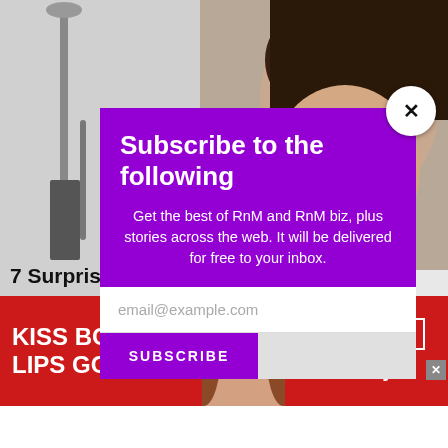[Figure (screenshot): Background photo of a woman receiving a facial treatment in a clinical/spa setting, with dental tools visible on the left side. Greyscale/muted tones.]
7 Surpris… ss
Informed Use | S…
[Figure (screenshot): Games promotional box with purple background and infolinks bar below it]
[Figure (infographic): Email subscription modal popup with purple background. Title: Subscribe to the following. Body: Get the best of RnM and RnM biz, plus stories across the web. It will be delivered for free to your inbox. Email input field and SUBSCRIBE button. Close (X) button in top right.]
Subscribe to the following
Get the best of RnM and RnM biz, plus stories across the web. It will be delivered for free to your inbox.
email@example.com
SUBSCRIBE
[Figure (infographic): Red advertisement banner for Macy's: 'KISS BORING LIPS GOODBYE' with SHOP NOW button and Macy's star logo on right, face/lips photo in center.]
KISS BORING LIPS GOODBYE
SHOP NOW
★macys